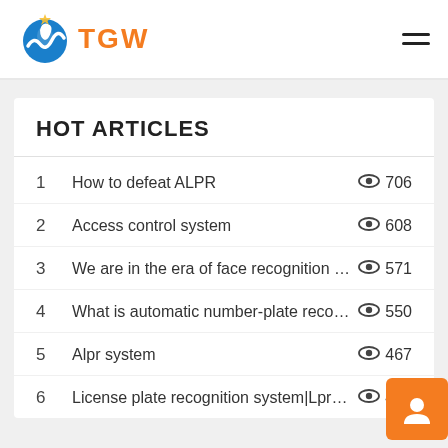TGW
HOT ARTICLES
1  How to defeat ALPR  706
2  Access control system  608
3  We are in the era of face recognition ac...  571
4  What is automatic number-plate recogni...  550
5  Alpr system  467
6  License plate recognition system|Lpr pa...  467